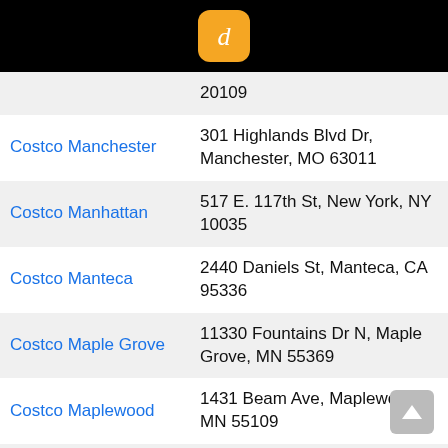[Figure (logo): App logo: orange rounded square with white letter d]
| Store | Address |
| --- | --- |
|  | 20109 |
| Costco Manchester | 301 Highlands Blvd Dr, Manchester, MO 63011 |
| Costco Manhattan | 517 E. 117th St, New York, NY 10035 |
| Costco Manteca | 2440 Daniels St, Manteca, CA 95336 |
| Costco Maple Grove | 11330 Fountains Dr N, Maple Grove, MN 55369 |
| Costco Maplewood | 1431 Beam Ave, Maplewood, MN 55109 |
| Costco Marlboro | 18 Route 9 North, Morganville, NJ 7751 |